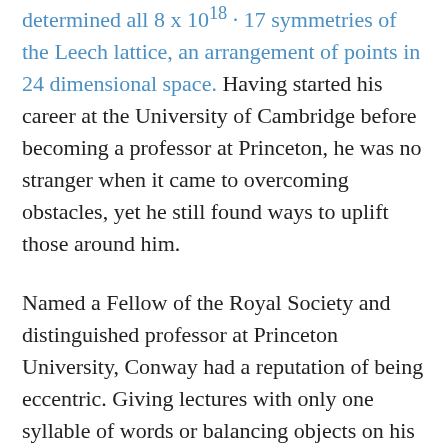determined all 8 x 10^18 · 17 symmetries of the Leech lattice, an arrangement of points in 24 dimensional space. Having started his career at the University of Cambridge before becoming a professor at Princeton, he was no stranger when it came to overcoming obstacles, yet he still found ways to uplift those around him.
Named a Fellow of the Royal Society and distinguished professor at Princeton University, Conway had a reputation of being eccentric. Giving lectures with only one syllable of words or balancing objects on his chin during class, Conway was passionate, enthusiastic, and a little mad. He would spend days just creating and playing games. Sometimes, he would enlist his graduate students to